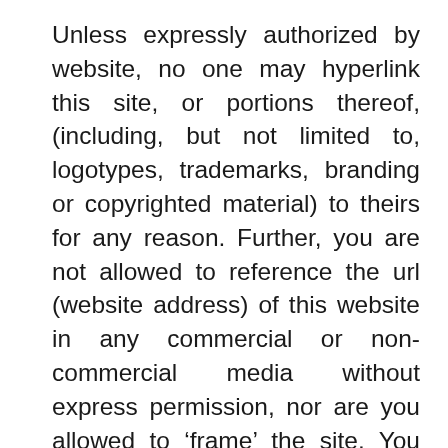Unless expressly authorized by website, no one may hyperlink this site, or portions thereof, (including, but not limited to, logotypes, trademarks, branding or copyrighted material) to theirs for any reason. Further, you are not allowed to reference the url (website address) of this website in any commercial or non-commercial media without express permission, nor are you allowed to ‘frame’ the site. You specifically agree to cooperate with